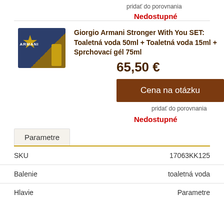pridať do porovnania
Nedostupné
[Figure (photo): Giorgio Armani Stronger With You SET product box with star logo and bottle]
Giorgio Armani Stronger With You SET: Toaletná voda 50ml + Toaletná voda 15ml + Sprchovací gél 75ml
65,50 €
Cena na otázku
pridať do porovnania
Nedostupné
Parametre
|  |  |
| --- | --- |
| SKU | 17063KK125 |
| Balenie | toaletná voda |
| Hlavie | Parametre |